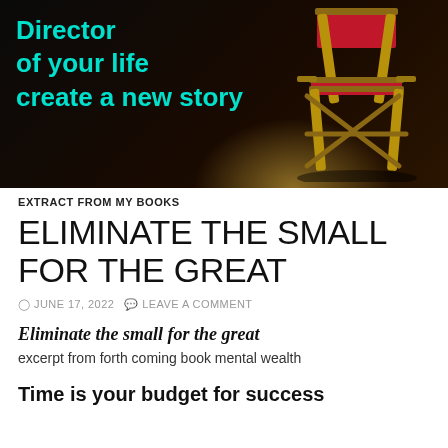[Figure (photo): Hero banner with dark background, text 'Director of your life create a new story' in cyan/teal, and a director's chair illuminated by a spotlight on the right side.]
EXTRACT FROM MY BOOKS
ELIMINATE THE SMALL FOR THE GREAT
JUNE 17, 2022   LEAVE A COMMENT
Eliminate the small for the great
excerpt from forth coming book mental wealth
Time is your budget for success